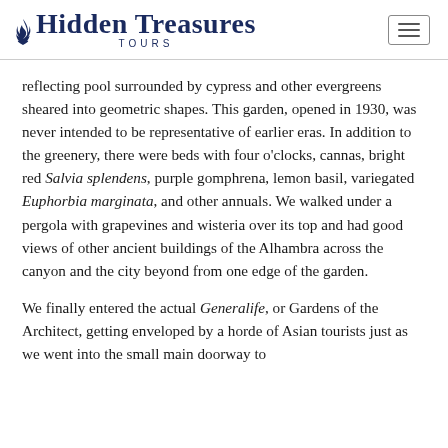Hidden Treasures TOURS
reflecting pool surrounded by cypress and other evergreens sheared into geometric shapes. This garden, opened in 1930, was never intended to be representative of earlier eras. In addition to the greenery, there were beds with four o'clocks, cannas, bright red Salvia splendens, purple gomphrena, lemon basil, variegated Euphorbia marginata, and other annuals. We walked under a pergola with grapevines and wisteria over its top and had good views of other ancient buildings of the Alhambra across the canyon and the city beyond from one edge of the garden.
We finally entered the actual Generalife, or Gardens of the Architect, getting enveloped by a horde of Asian tourists just as we went into the small main doorway to...